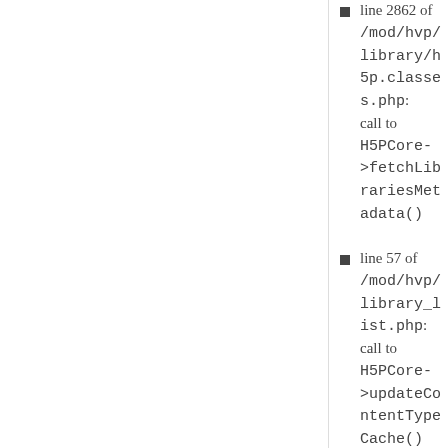line 2862 of /mod/hvp/library/h5p.classes.php: call to H5PCore->fetchLibrariesMetadata()
line 57 of /mod/hvp/library_list.php: call to H5PCore->updateContentTypeCache()
Log in or register to post comments
[Figure (photo): User avatar photo of icc, grayscale portrait]
icc
Mon, 11/20/2017 - 11:36
permalink
You should check that DNS is
You should check that DNS is correctly configured on your